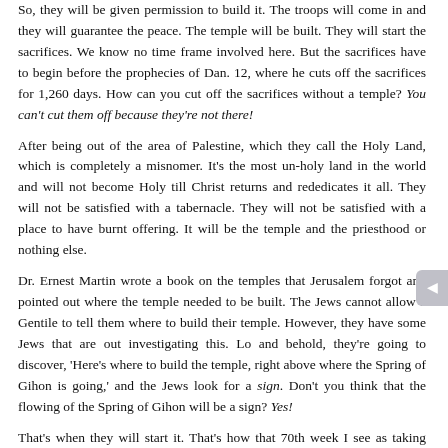So, they will be given permission to build it. The troops will come in and they will guarantee the peace. The temple will be built. They will start the sacrifices. We know no time frame involved here. But the sacrifices have to begin before the prophecies of Dan. 12, where he cuts off the sacrifices for 1,260 days. How can you cut off the sacrifices without a temple? You can't cut them off because they're not there!
After being out of the area of Palestine, which they call the Holy Land, which is completely a misnomer. It's the most un-holy land in the world and will not become Holy till Christ returns and rededicates it all. They will not be satisfied with a tabernacle. They will not be satisfied with a place to have burnt offering. It will be the temple and the priesthood or nothing else.
Dr. Ernest Martin wrote a book on the temples that Jerusalem forgot and pointed out where the temple needed to be built. The Jews cannot allow a Gentile to tell them where to build their temple. However, they have some Jews that are out investigating this. Lo and behold, they're going to discover, 'Here's where to build the temple, right above where the Spring of Gihon is going,' and the Jews look for a sign. Don't you think that the flowing of the Spring of Gihon will be a sign? Yes!
That's when they will start it. That's how that 70th week I see as taking place. You have all these other prophecies that stack up with